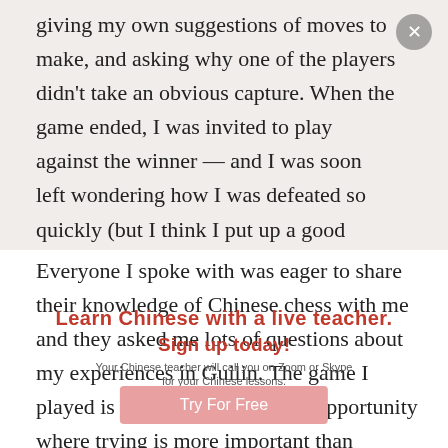giving my own suggestions of moves to make, and asking why one of the players didn't take an obvious capture. When the game ended, I was invited to play against the winner — and I was soon left wondering how I was defeated so quickly (but I think I put up a good fight).
Everyone I spoke with was eager to share their knowledge of Chinese chess with me and they asked me lots of questions about my experiences in Guilin. The game I played is a great example of an opportunity where trying is more important than winning, and there are lots to try in Guilin!
Learn Chinese with a live teacher. Sign up today! Your Chinese teacher will call you on Zoom or Skype for your Chinese lessons.
Try For Free